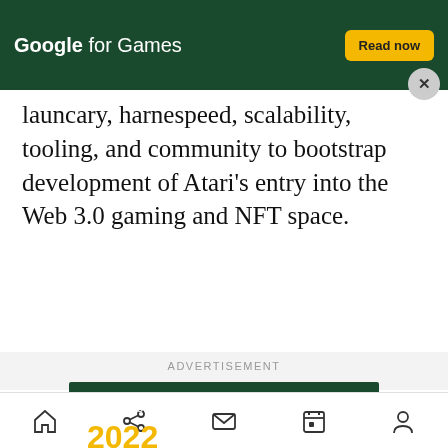[Figure (screenshot): Top banner advertisement for Google for Games with dark green background, white logo text 'Google for Games', yellow 'Read now' button, and circular close (X) button]
launc...ary, harnessing the protocol's speed, scalability, tooling, and community to bootstrap development of Atari's entry into the Web 3.0 gaming and NFT space.
[Figure (screenshot): Advertisement banner: Google for Games 2022 PC & Console Insights Report with dark green background, illustrated trees, yellow '2022' text, white headline, and yellow 'Read now' button]
[Figure (screenshot): Mobile browser bottom navigation bar with icons: home, share, mail, calendar/bookmark, and profile/person]